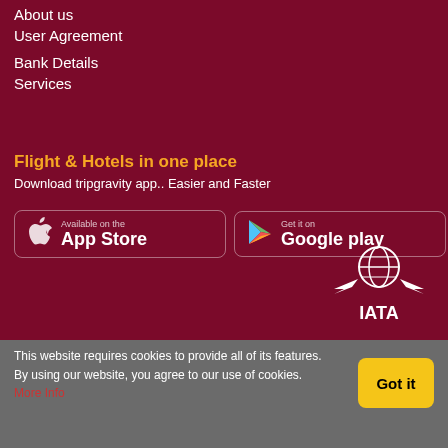About us
User Agreement
Bank Details
Services
Flight & Hotels in one place
Download tripgravity app.. Easier and Faster
[Figure (logo): App Store badge with Apple logo]
[Figure (logo): Google Play badge with Play logo]
[Figure (logo): IATA logo with globe and wings]
This website requires cookies to provide all of its features. By using our website, you agree to our use of cookies. More Info